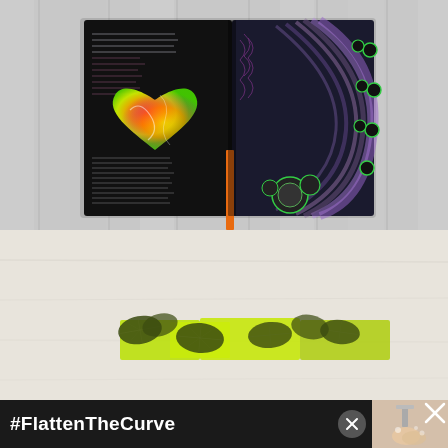[Figure (photo): Open art journal on a gray wooden plank background. Left page has black background with handwritten cursive text in white/pink, with a large colorful marbled heart in red, orange, yellow, green. Right page has dark background with purple and black circular/mandala pattern with green outlines. An orange bookmark ribbon hangs between pages.]
[Figure (photo): Craft stamping project on white/light wooden surface. Bright lime green paint swatches with dark olive green leaf prints/stamps arranged on a surface, partially cut off at bottom. Appears to show gelli printing or block printing with leaves.]
#FlattenTheCurve